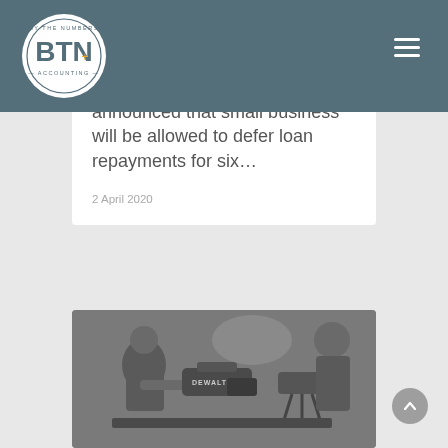BTN Accounting — By The Numbers
[Figure (logo): BTN Accounting circular logo — white circle with 'BY THE NUMBERS' text at top, large 'BTN' letters with an orange plus symbol, and 'ACCOUNTING' text at bottom, on a dark slate background]
announced that small business will be allowed to defer loan repayments for six...
2 April 2020
[Figure (photo): Black and white photograph showing a person (possibly a child) working with a DeWalt power tool on a workbench, with another person visible in the background]